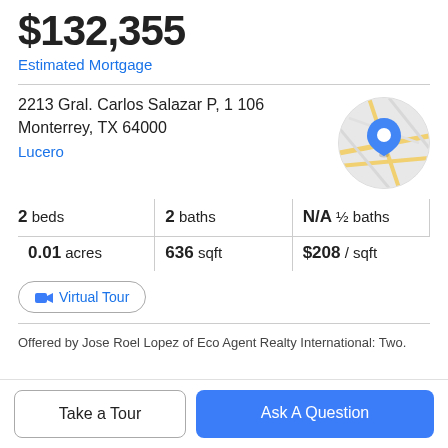$132,355
Estimated Mortgage
2213 Gral. Carlos Salazar P, 1 106
Monterrey, TX 64000
Lucero
[Figure (map): Circular map thumbnail with a blue location pin marker, showing gray streets and yellow road lines]
2 beds | 2 baths | N/A ½ baths | 0.01 acres | 636 sqft | $208 / sqft
Virtual Tour
Offered by Jose Roel Lopez of Eco Agent Realty International: Two.
Take a Tour
Ask A Question